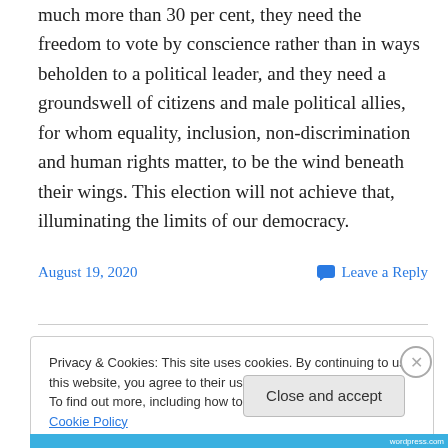much more than 30 per cent, they need the freedom to vote by conscience rather than in ways beholden to a political leader, and they need a groundswell of citizens and male political allies, for whom equality, inclusion, non-discrimination and human rights matter, to be the wind beneath their wings. This election will not achieve that, illuminating the limits of our democracy.
August 19, 2020
Leave a Reply
Privacy & Cookies: This site uses cookies. By continuing to use this website, you agree to their use.
To find out more, including how to control cookies, see here: Cookie Policy
Close and accept